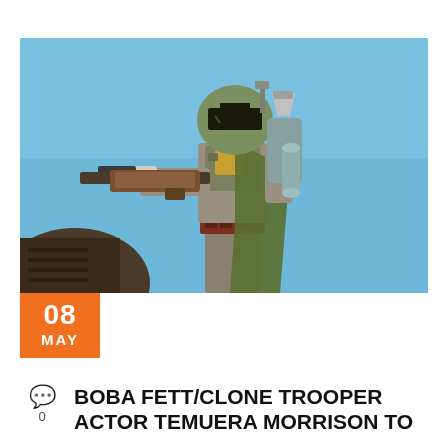[Figure (photo): Boba Fett character in Mandalorian armor aiming a blaster rifle against a blue sky background]
08 MAY
BOBA FETT/CLONE TROOPER ACTOR TEMUERA MORRISON TO